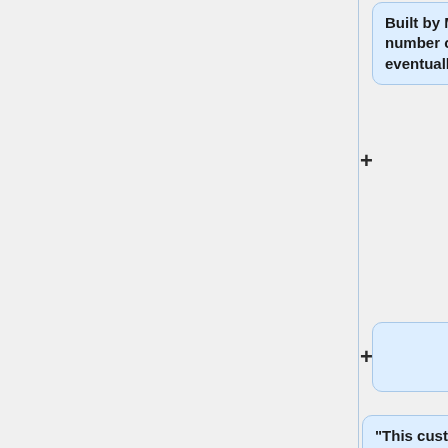Built by Matt and brought to a number of Ephemerisles. He eventually sold it.
"This custom vehicle is based on the design of a Universal Hovercraft UH-13PT and was built by the seller to resemble the flying DeLorean DMC-12 used in Back to the Future II. The seller began